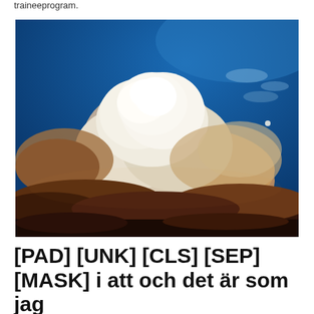traineeprogram.
[Figure (photo): Dramatic cloud formation — a large cumulonimbus or pyrocumulus cloud with white and tan billowing top against a deep blue sky, with darker brownish-orange clouds at the base. A small moon or bright star is visible in the upper right.]
[PAD] [UNK] [CLS] [SEP] [MASK] i att och det är som jag en på